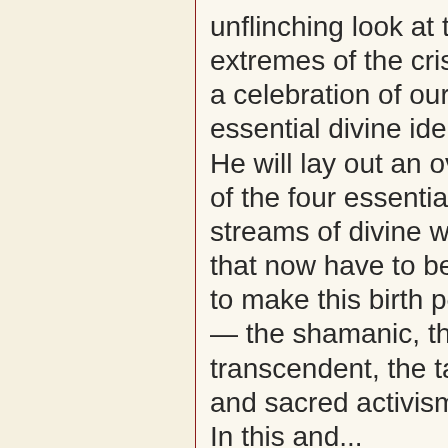unflinching look at the extremes of the crisis and a celebration of our essential divine identity. He will lay out an overview of the four essential streams of divine wisdom that now have to be fused to make this birth possible — the shamanic, the transcendent, the tantric and sacred activism. In this and...